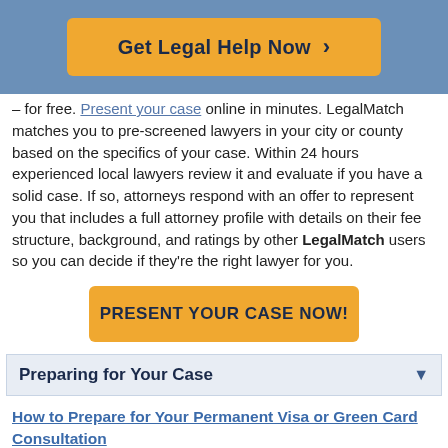[Figure (other): Orange button with text 'Get Legal Help Now >' on a blue background header]
– for free. Present your case online in minutes. LegalMatch matches you to pre-screened lawyers in your city or county based on the specifics of your case. Within 24 hours experienced local lawyers review it and evaluate if you have a solid case. If so, attorneys respond with an offer to represent you that includes a full attorney profile with details on their fee structure, background, and ratings by other LegalMatch users so you can decide if they're the right lawyer for you.
[Figure (other): Orange button with bold uppercase text 'PRESENT YOUR CASE NOW!']
Preparing for Your Case
How to Prepare for Your Permanent Visa or Green Card Consultation